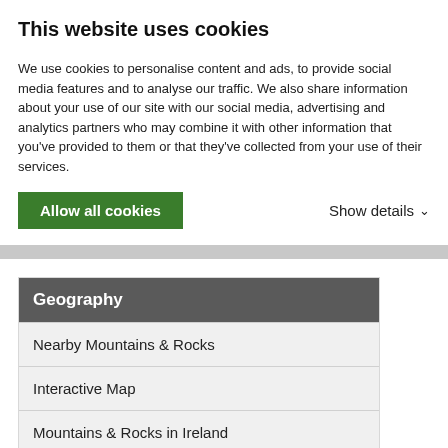This website uses cookies
We use cookies to personalise content and ads, to provide social media features and to analyse our traffic. We also share information about your use of our site with our social media, advertising and analytics partners who may combine it with other information that you've provided to them or that they've collected from your use of their services.
Allow all cookies
Show details
Geography
Nearby Mountains & Rocks
Interactive Map
Mountains & Rocks in Ireland
Children
1 Routes
Cush-Galtymore-Slievecushnabinnia